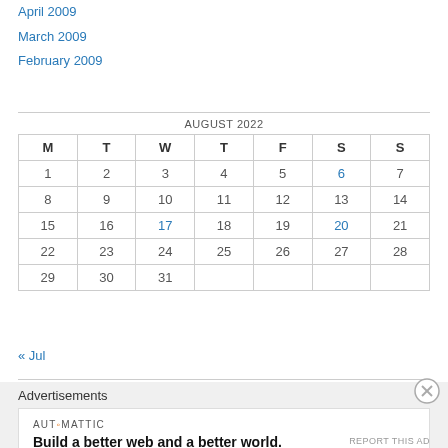April 2009
March 2009
February 2009
| M | T | W | T | F | S | S |
| --- | --- | --- | --- | --- | --- | --- |
| 1 | 2 | 3 | 4 | 5 | 6 | 7 |
| 8 | 9 | 10 | 11 | 12 | 13 | 14 |
| 15 | 16 | 17 | 18 | 19 | 20 | 21 |
| 22 | 23 | 24 | 25 | 26 | 27 | 28 |
| 29 | 30 | 31 |  |  |  |  |
« Jul
Advertisements
AUTOMATTIC — Build a better web and a better world.